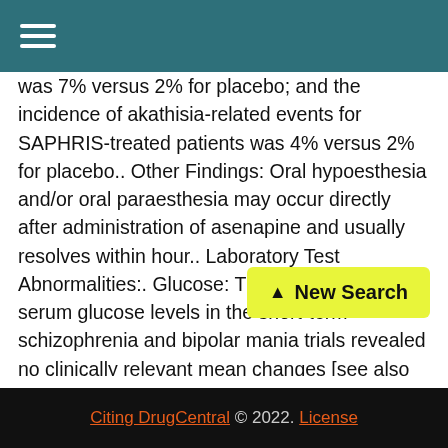☰ (navigation menu)
was 7% versus 2% for placebo; and the incidence of akathisia-related events for SAPHRIS-treated patients was 4% versus 2% for placebo.. Other Findings: Oral hypoesthesia and/or oral paraesthesia may occur directly after administration of asenapine and usually resolves within hour.. Laboratory Test Abnormalities:. Glucose: The effects on fasting serum glucose levels in the short-term schizophrenia and bipolar mania trials revealed no clinically relevant mean changes [see also Warnings and Precautions (5.5)]. In the short-term placebo-controlled schizophrenia trials, the mean increase in fasting gl... for SAPHRIS-treated patients was 3.2 m... decrease of 1.6 mg/dl for placebo-treated patients. The
[Figure (other): New Search button with upward arrow, yellow-green background]
Citing DrugCentral © 2022. License